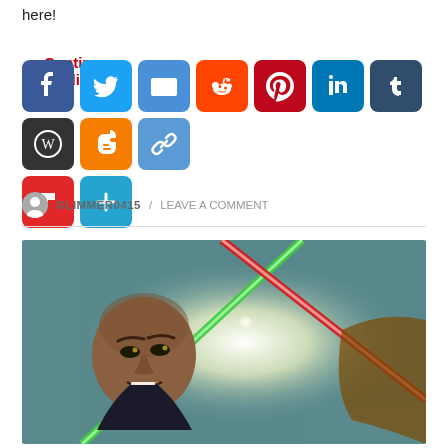here!
Continue reading
[Figure (other): Social media share buttons: Facebook, Twitter, Email, Reddit, Pinterest, LinkedIn, Tumblr, WordPress, Blogger, Copy Link, Flipboard, More]
GLIMMER0415 / LEAVE A COMMENT
[Figure (illustration): Digital illustration of a bald woman with an intense expression, crossed green and red lightsabers creating a bright X in the center]